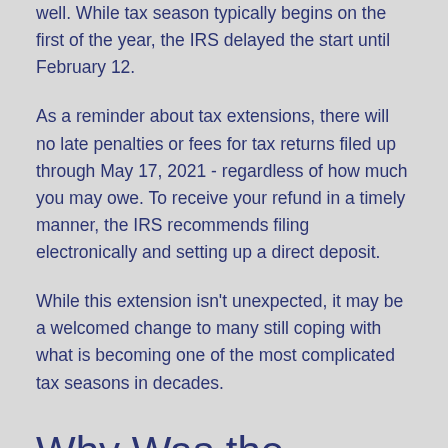well. While tax season typically begins on the first of the year, the IRS delayed the start until February 12.
As a reminder about tax extensions, there will no late penalties or fees for tax returns filed up through May 17, 2021 - regardless of how much you may owe. To receive your refund in a timely manner, the IRS recommends filing electronically and setting up a direct deposit.
While this extension isn't unexpected, it may be a welcomed change to many still coping with what is becoming one of the most complicated tax seasons in decades.
Why Was the Deadline Extended?